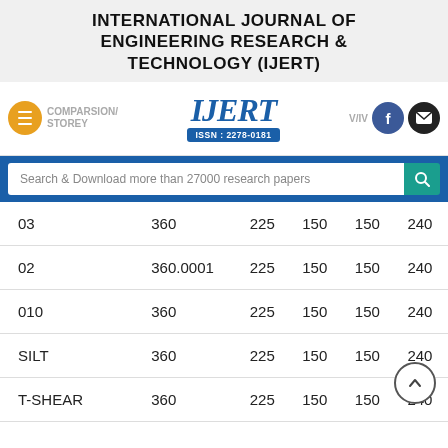INTERNATIONAL JOURNAL OF ENGINEERING RESEARCH & TECHNOLOGY (IJERT)
[Figure (logo): IJERT logo with ISSN: 2278-0181 badge, navigation bar with hamburger menu, COMPARSION/STOREY text, Facebook and email buttons]
Search & Download more than 27000 research papers
| 03 | 360 | 225 | 150 | 150 | 240 |
| 02 | 360.0001 | 225 | 150 | 150 | 240 |
| 010 | 360 | 225 | 150 | 150 | 240 |
| SILT | 360 | 225 | 150 | 150 | 240 |
| T-SHEAR | 360 | 225 | 150 | 150 | 240 |